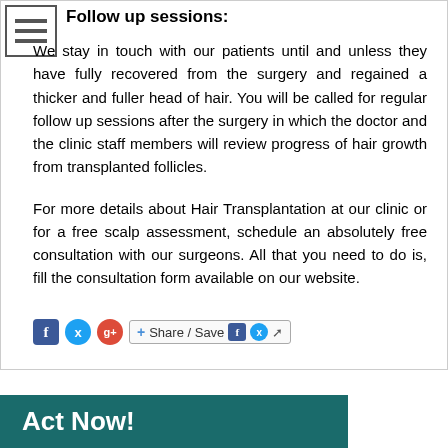Follow up sessions:
We stay in touch with our patients until and unless they have fully recovered from the surgery and regained a thicker and fuller head of hair. You will be called for regular follow up sessions after the surgery in which the doctor and the clinic staff members will review progress of hair growth from transplanted follicles.
For more details about Hair Transplantation at our clinic or for a free scalp assessment, schedule an absolutely free consultation with our surgeons. All that you need to do is, fill the consultation form available on our website.
[Figure (infographic): Social sharing bar with Facebook, Twitter, Google+ icons and a Share/Save button with additional Facebook, Twitter and export icons]
Act Now!